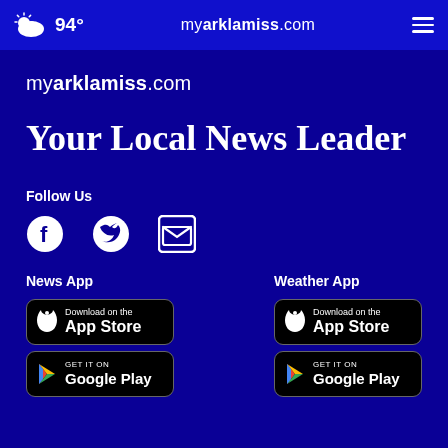94° myarklamiss.com
myarklamiss.com
Your Local News Leader
Follow Us
[Figure (infographic): Social media icons: Facebook, Twitter, Email]
News App
Weather App
[Figure (infographic): Download on the App Store badge]
[Figure (infographic): GET IT ON Google Play badge]
[Figure (infographic): Download on the App Store badge (Weather)]
[Figure (infographic): GET IT ON Google Play badge (Weather)]